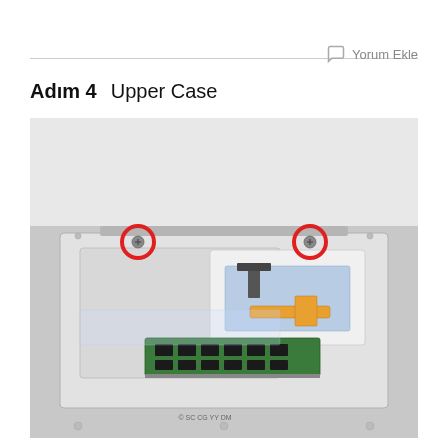Yorum Ekle
Adım 4    Upper Case
[Figure (photo): A laptop computer opened from the bottom showing the internal components. Two screws are highlighted with red circles at the top-left and top-right corners of the upper case. The interior shows RAM modules (green circuit board with black chips), a memory card reader area (white panel), a flat ribbon cable connector, and an orange flex cable. The device appears to be a MacBook or similar Apple laptop being disassembled.]